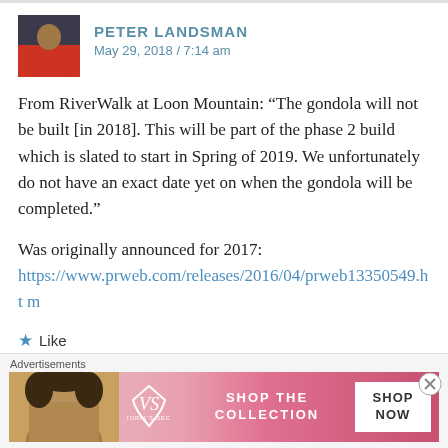PETER LANDSMAN
May 29, 2018 / 7:14 am
From RiverWalk at Loon Mountain: “The gondola will not be built [in 2018]. This will be part of the phase 2 build which is slated to start in Spring of 2019. We unfortunately do not have an exact date yet on when the gondola will be completed.”
Was originally announced for 2017:
https://www.prweb.com/releases/2016/04/prweb13350549.htm
★ Like
[Figure (photo): Advertisement banner for Victoria's Secret featuring a model and text SHOP THE COLLECTION / SHOP NOW]
Advertisements